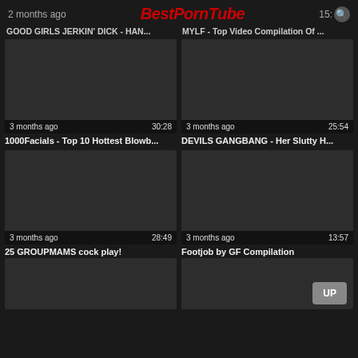2 months ago | BestPornTube | 15:
GOOD GIRLS JERKIN' DICK - HAN... | MYLF - Top Video Compilation Of ...
[Figure (screenshot): Video thumbnail dark placeholder, 3 months ago, 30:28]
1000Facials - Top 10 Hottest Blowb...
[Figure (screenshot): Video thumbnail dark placeholder, 3 months ago, 25:54]
DEVILS GANGBANG - Her Slutty H...
[Figure (screenshot): Video thumbnail dark placeholder, 3 months ago, 28:49]
25 GROUPMAMS cock play!
[Figure (screenshot): Video thumbnail dark placeholder, 3 months ago, 13:57]
Footjob by GF Compilation
[Figure (screenshot): Partial video thumbnail bottom left]
[Figure (screenshot): Partial video thumbnail bottom right with UP button]